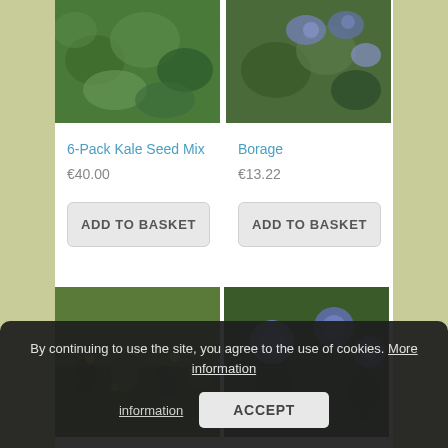[Figure (photo): Photo of kale plants growing - dense green leafy plants]
[Figure (photo): Photo of borage plant with blue/purple flowers and green leaves]
6-Pack Kale Seed Mix
€40.00
Borage
€13.22
ADD TO BASKET
ADD TO BASKET
[Figure (photo): Photo of meadow/grass with small yellow wildflowers]
[Figure (photo): Photo of purple/blue cornflower blooms]
By continuing to use the site, you agree to the use of cookies. More information
ACCEPT